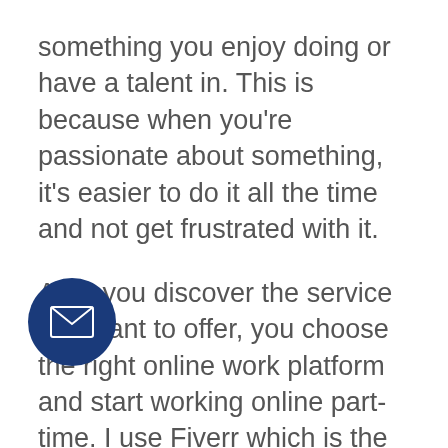something you enjoy doing or have a talent in. This is because when you're passionate about something, it's easier to do it all the time and not get frustrated with it.
After you discover the service you want to offer, you choose the right online work platform and start working online part-time. I use Fiverr which is the platform I recommend and as a level 2 seller on Fiverr, I've written a Fiverr Guide to help you get started.
It is advisable to not quit your 9-5 until you've established yourself online and earned enough money. Once you start making money working online, you can quit your current job and work online full-time.
The digital nomad lifestyle is not for